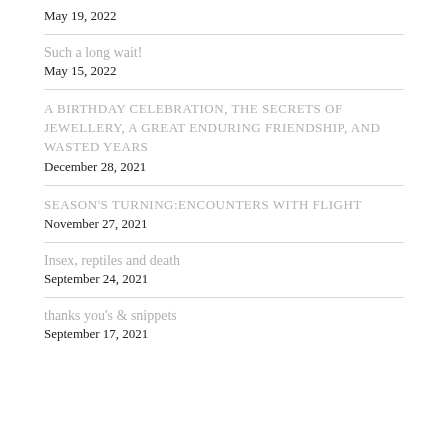May 19, 2022
Such a long wait!
May 15, 2022
A BIRTHDAY CELEBRATION, THE SECRETS OF JEWELLERY, A GREAT ENDURING FRIENDSHIP, AND WASTED YEARS
December 28, 2021
SEASON'S TURNING:ENCOUNTERS WITH FLIGHT
November 27, 2021
Insex, reptiles and death
September 24, 2021
thanks you's & snippets
September 17, 2021